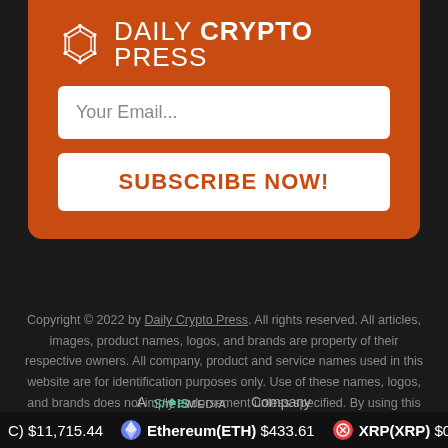[Figure (logo): Daily Crypto Press logo with geometric polygon icon and text 'DAILY CRYPTO PRESS' on orange background]
Your Email...
SUBSCRIBE NOW!
Copyright © 2022 by Daily Crypto Press. All rights reserved. All articles, images, product names, logos, and brands are property of their respective owners. All company, product and service names used in this website are for identification purposes only. Use of these names, logos, and brands does not imply endorsement unless specified. By using this site, you agree to the Terms of Use and Privacy Policy.
[Figure (logo): SheIS MEDIA logo with text 'A SheIS MEDIA Company']
(C) $11,715.44  Ethereum(ETH) $433.61  XRP(XRP) $0.28031